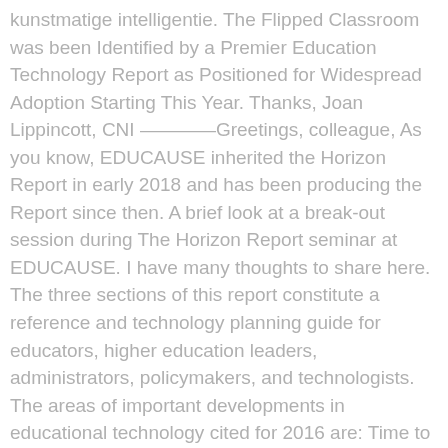kunstmatige intelligentie. The Flipped Classroom was been Identified by a Premier Education Technology Report as Positioned for Widespread Adoption Starting This Year. Thanks, Joan Lippincott, CNI ————Greetings, colleague, As you know, EDUCAUSE inherited the Horizon Report in early 2018 and has been producing the Report since then. A brief look at a break-out session during The Horizon Report seminar at EDUCAUSE. I have many thoughts to share here. The three sections of this report constitute a reference and technology planning guide for educators, higher education leaders, administrators, policymakers, and technologists. The areas of important developments in educational technology cited for 2016 are: Time to adoption: One Year or Less. Thanks, Joan Lippincott, CNI ————Greetings, colleague, As you know, EDUCAUSE inherited the Horizon Report in early 2018 and has been producing the Report since then. Abstract. Learn Online. (courtesy of Korea Education & Research Information Service – KERIS). —Joan Lippincott, CNI ————————————Greetings, colleagues, Just a quick note that